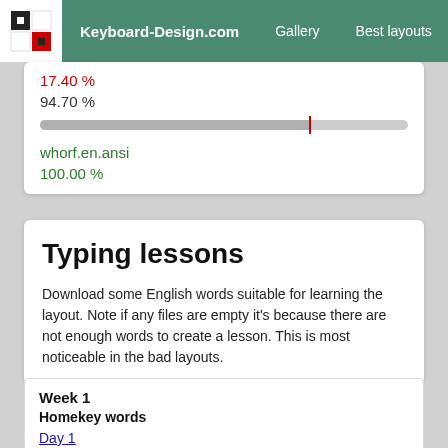Keyboard-Design.com | Gallery | Best layouts | Too
17.40 %
94.70 %
whorf.en.ansi
100.00 %
Typing lessons
Download some English words suitable for learning the layout. Note if any files are empty it's because there are not enough words to create a lesson. This is most noticeable in the bad layouts.
Week 1
Homekey words
Day 1
Day 2